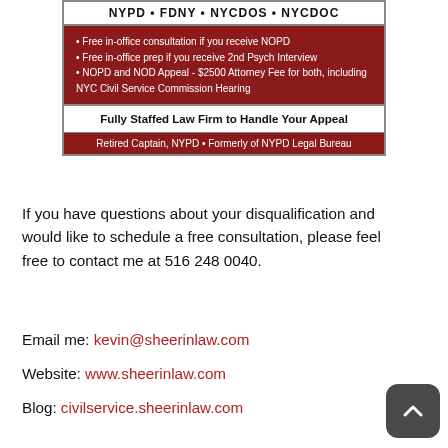[Figure (infographic): Law firm advertisement for NYPD, FDNY, NYCDOS, NYCDOC. Red background sections with bullet points about free consultation, free prep for 2nd Psych Interview, NOPD and NOD Appeal $2500 attorney fee. White band: 'Fully Staffed Law Firm to Handle Your Appeal'. Footer: 'Retired Captain, NYPD • Formerly of NYPD Legal Bureau'.]
If you have questions about your disqualification and would like to schedule a free consultation, please feel free to contact me at 516 248 0040.
Email me: kevin@sheerinlaw.com
Website: www.sheerinlaw.com
Blog: civilservice.sheerinlaw.com
Facebook: Law_Office_of Kevin_P_Sheerin
Twitter: @DQLawyer
My podcast about New York State Civil Service Law issues